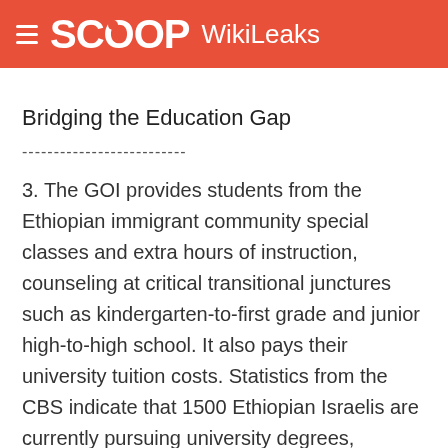SCOOP WikiLeaks
Bridging the Education Gap
----------------------------
3. The GOI provides students from the Ethiopian immigrant community special classes and extra hours of instruction, counseling at critical transitional junctures such as kindergarten-to-first grade and junior high-to-high school. It also pays their university tuition costs. Statistics from the CBS indicate that 1500 Ethiopian Israelis are currently pursuing university degrees, compared with less than 100 five years ago. The GOI has allocated considerable resources to provide preschool education.